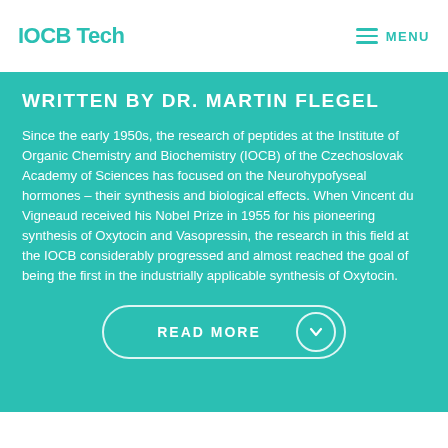IOCB Tech MENU
WRITTEN BY DR. MARTIN FLEGEL
Since the early 1950s, the research of peptides at the Institute of Organic Chemistry and Biochemistry (IOCB) of the Czechoslovak Academy of Sciences has focused on the Neurohypofyseal hormones – their synthesis and biological effects. When Vincent du Vigneaud received his Nobel Prize in 1955 for his pioneering synthesis of Oxytocin and Vasopressin, the research in this field at the IOCB considerably progressed and almost reached the goal of being the first in the industrially applicable synthesis of Oxytocin.
READ MORE